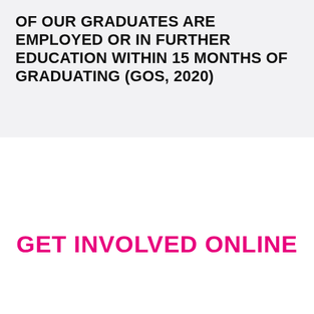OF OUR GRADUATES ARE EMPLOYED OR IN FURTHER EDUCATION WITHIN 15 MONTHS OF GRADUATING (GOS, 2020)
GET INVOLVED ONLINE